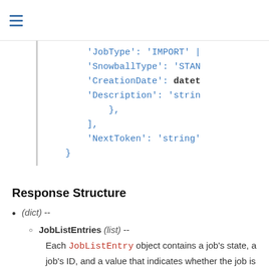≡
[Figure (screenshot): Code block showing JSON/Python-like response structure with fields: 'JobType': 'IMPORT', 'SnowballType': 'STAN', 'CreationDate': datetime, 'Description': 'string', },  ], 'NextToken': 'string' }]
Response Structure
(dict) --
JobListEntries (list) --
Each JobListEntry object contains a job's state, a job's ID, and a value that indicates whether the job is a job part, in the case of export jobs.
(dict) --